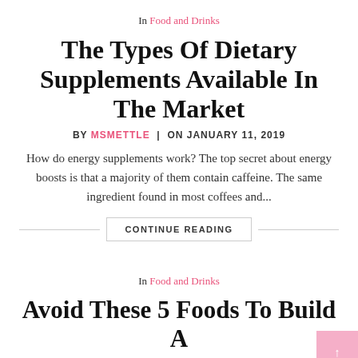In Food and Drinks
The Types Of Dietary Supplements Available In The Market
BY MSMETTLE  |  ON JANUARY 11, 2019
How do energy supplements work? The top secret about energy boosts is that a majority of them contain caffeine. The same ingredient found in most coffees and...
CONTINUE READING
In Food and Drinks
Avoid These 5 Foods To Build A Healthy Microbiome
BY MSMETTLE  |  ON DECEMBER 30, 2018